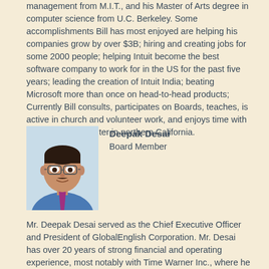management from M.I.T., and his Master of Arts degree in computer science from U.C. Berkeley. Some accomplishments Bill has most enjoyed are helping his companies grow by over $3B; hiring and creating jobs for some 2000 people; helping Intuit become the best software company to work for in the US for the past five years; leading the creation of Intuit India; beating Microsoft more than once on head-to-head products; Currently Bill consults, participates on Boards, teaches, is active in church and volunteer work, and enjoys time with his wife and daughter in northern California.
[Figure (photo): Headshot photo of Deepak Desai, a man wearing glasses, a blue shirt and a purple/magenta tie.]
Deepak Desai
Board Member
Mr. Deepak Desai served as the Chief Executive Officer and President of GlobalEnglish Corporation. Mr. Desai has over 20 years of strong financial and operating experience, most notably with Time Warner Inc., where he spent twelve years and held senior financial positions in New York and Asia. He served as General Manager and Chief Financial Officer with Time Life Asia at Time Warner, Inc. from 1995 to 1999. From July 1987 to July 1999, he held various positions with Time Warner, Inc., including